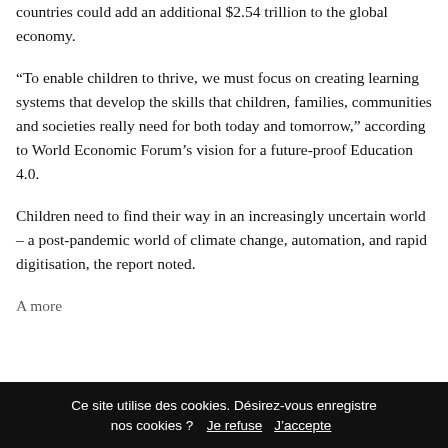countries could add an additional $2.54 trillion to the global economy.
“To enable children to thrive, we must focus on creating learning systems that develop the skills that children, families, communities and societies really need for both today and tomorrow,” according to World Economic Forum’s vision for a future-proof Education 4.0.
Children need to find their way in an increasingly uncertain world – a post-pandemic world of climate change, automation, and rapid digitisation, the report noted.
A more...
Ce site utilise des cookies. Désirez-vous enregistre nos cookies ?  Je refuse  J’accepte